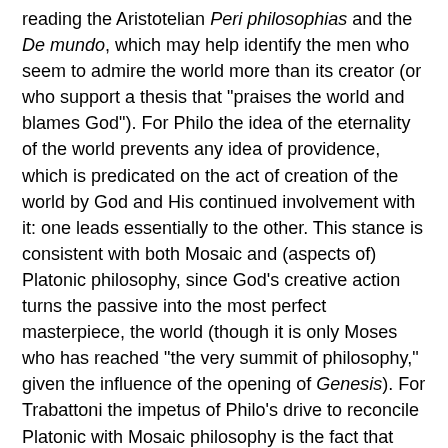reading the Aristotelian Peri philosophias and the De mundo, which may help identify the men who seem to admire the world more than its creator (or who support a thesis that "praises the world and blames God"). For Philo the idea of the eternality of the world prevents any idea of providence, which is predicated on the act of creation of the world by God and His continued involvement with it: one leads essentially to the other. This stance is consistent with both Mosaic and (aspects of) Platonic philosophy, since God's creative action turns the passive into the most perfect masterpiece, the world (though it is only Moses who has reached "the very summit of philosophy," given the influence of the opening of Genesis). For Trabattoni the impetus of Philo's drive to reconcile Platonic with Mosaic philosophy is the fact that Platonism provides the Ideas, which are absent from Genesis, while the Mosaic contribution accounts for their creation, a notion absent from the Timaeus.
6. Opsomer attempts a philosophical portrait of Plutarch's teacher, the mysterious Ammonius (1st c.). He portrays the Egyptian as a mild and tactful instructor who discussed aspects of Platonic theory (e.g., the doctrine of recollection),